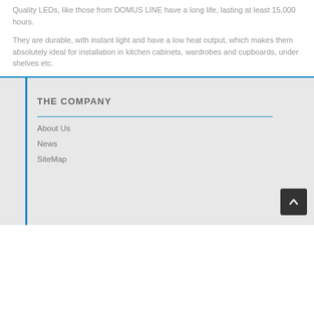Quality LEDs, like those from DOMUS LINE have a long life, lasting at least 15,000 hours.
They are durable, with instant light and have a low heat output, which makes them absolutely ideal for installation in kitchen cabinets, wardrobes and cupboards, under shelves etc.
THE COMPANY
About Us
News
SiteMap